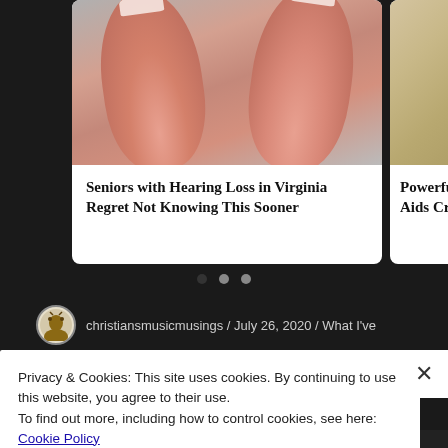[Figure (photo): Close-up photo of two thumbs/fingers held up against a gray background, with fingernails visible at top. Part of an advertisement card.]
Seniors with Hearing Loss in Virginia Regret Not Knowing This Sooner
[Figure (photo): Partially visible photo appearing to show a light-colored surface or material, part of a second advertisement card cut off at the right edge.]
Powerfu Aids Cru
christiansmusicmusings / July 26, 2020 / What I've
Privacy & Cookies: This site uses cookies. By continuing to use this website, you agree to their use.
To find out more, including how to control cookies, see here:
Cookie Policy
Close and accept